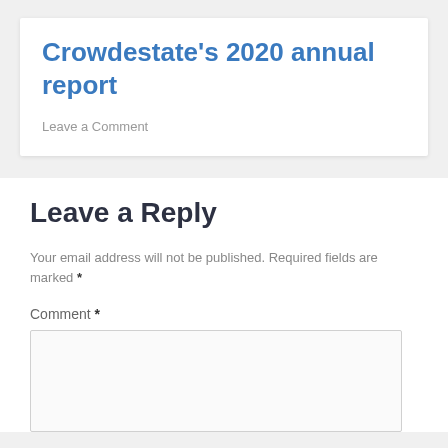Crowdestate’s 2020 annual report
Leave a Comment
Leave a Reply
Your email address will not be published. Required fields are marked *
Comment *